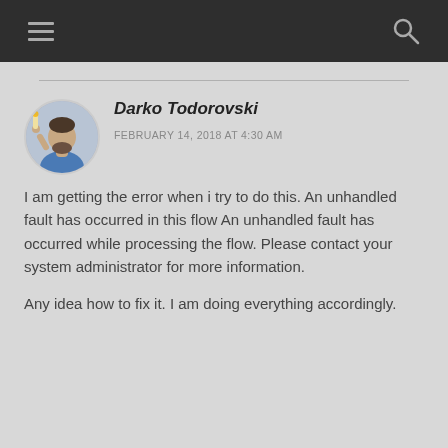Darko Todorovski
FEBRUARY 14, 2018 AT 4:30 AM
I am getting the error when i try to do this. An unhandled fault has occurred in this flow An unhandled fault has occurred while processing the flow. Please contact your system administrator for more information.

Any idea how to fix it. I am doing everything accordingly.